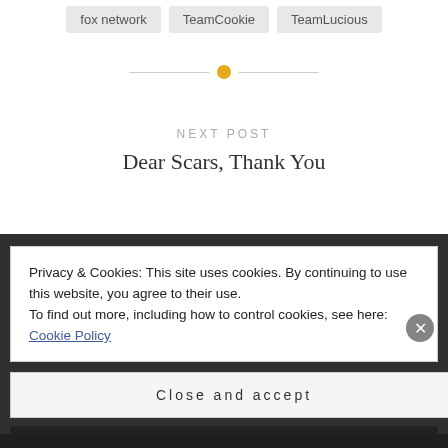fox network
TeamCookie
TeamLucious
[Figure (other): Horizontal divider with orange dot in center]
NEXT POST
Dear Scars, Thank You
Privacy & Cookies: This site uses cookies. By continuing to use this website, you agree to their use.
To find out more, including how to control cookies, see here: Cookie Policy
Close and accept